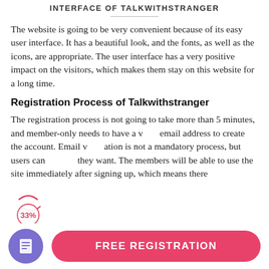INTERFACE OF TALKWITHSTRANGER
The website is going to be very convenient because of its easy user interface. It has a beautiful look, and the fonts, as well as the icons, are appropriate. The user interface has a very positive impact on the visitors, which makes them stay on this website for a long time.
Registration Process of Talkwithstranger
The registration process is not going to take more than 5 minutes, and member-only needs to have a valid email address to create the account. Email verification is not a mandatory process, but users can do it if they want. The members will be able to use the site immediately after signing up, which means there